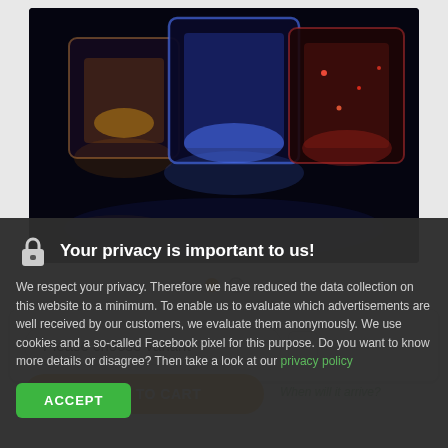[Figure (photo): Product photo showing glowing LED ice cube containers lit in blue and red/orange colors against a black background]
• •  (carousel navigation dots, first dot active/orange, second dot hollow)
Please choose variant (dropdown selector)
ADD TO CART (orange button)
When will it arrive?
🔒  Your privacy is important to us!
We respect your privacy. Therefore we have reduced the data collection on this website to a minimum. To enable us to evaluate which advertisements are well received by our customers, we evaluate them anonymously. We use cookies and a so-called Facebook pixel for this purpose. Do you want to know more details or disagree? Then take a look at our privacy policy
ACCEPT